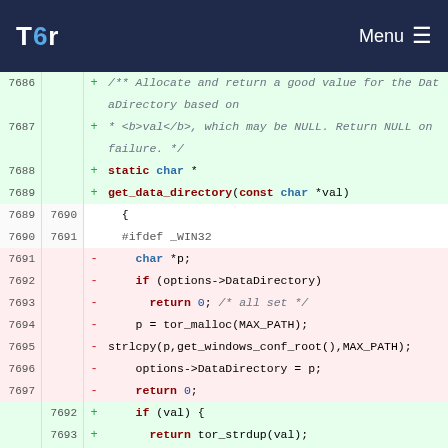Tor | Menu
[Figure (screenshot): Code diff view showing changes to get_data_directory function in a C source file, with added lines (green) and removed lines (red). Navigation bar shows Tor logo and Menu button.]